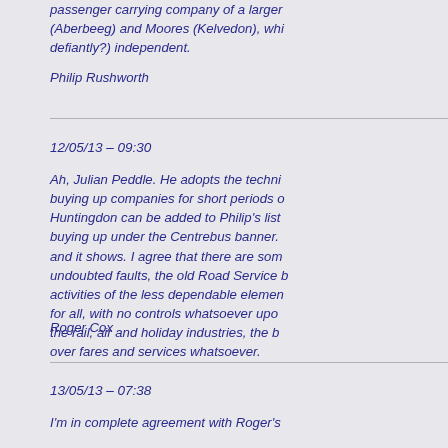passenger carrying company of a larger... (Aberbeeg) and Moores (Kelvedon), whi... defiantly?) independent.
Philip Rushworth
12/05/13 – 09:30
Ah, Julian Peddle. He adopts the technic... buying up companies for short periods o... Huntingdon can be added to Philip's list... buying up under the Centrebus banner. ... and it shows. I agree that there are som... undoubted faults, the old Road Service b... activities of the less dependable elemen... for all, with no controls whatsoever upo... the rail, air and holiday industries, the b... over fares and services whatsoever.
Roger Cox
13/05/13 – 07:38
I'm in complete agreement with Roger's... groups. I was in Torquay at the weekend... up the branch to Newton Abbot so I thou... well presented I do admit but when I ask... charged £3.70 for a journey of less than... though, TrentBarton, still technically a p... expensive bus companies in England. T...